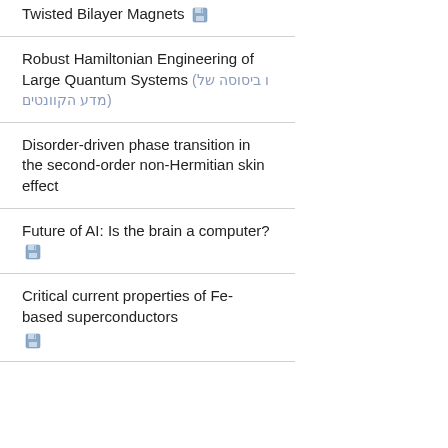Twisted Bilayer Magnets 💾
Robust Hamiltonian Engineering of Large Quantum Systems (ו ביסוסה של מדע הקוונטים)
Disorder-driven phase transition in the second-order non-Hermitian skin effect
Future of AI: Is the brain a computer? 💾
Critical current properties of Fe-based superconductors 💾